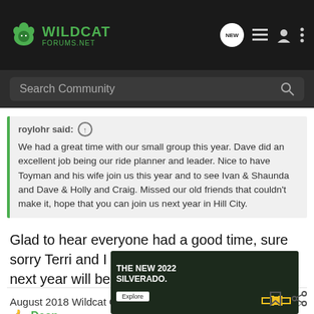Wildcat Forums.net — navigation header with search bar
roylohr said: We had a great time with our small group this year. Dave did an excellent job being our ride planner and leader. Nice to have Toyman and his wife join us this year and to see Ivan & Shaunda and Dave & Holly and Craig. Missed our old friends that couldn't make it, hope that you can join us next year in Hill City.
Glad to hear everyone had a good time, sure sorry Terri and I missed it this year, hopefully next year will be better
August 2018 Wildcat Of The Month 😱
Dean
[Figure (photo): Advertisement for The New 2022 Silverado by Chevrolet showing a truck in outdoor setting with Explore button]